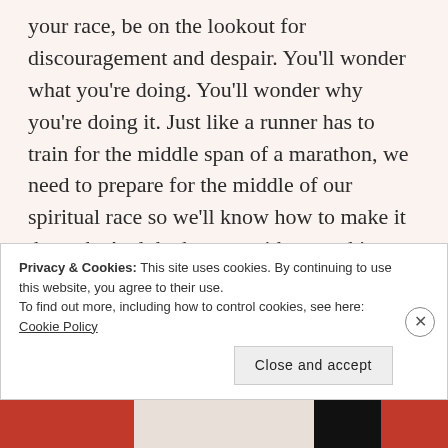your race, be on the lookout for discouragement and despair. You'll wonder what you're doing. You'll wonder why you're doing it. Just like a runner has to train for the middle span of a marathon, we need to prepare for the middle of our spiritual race so we'll know how to make it through. And the key–as with everything else in life–is to watch Jesus. How did Jesus handle it? What did He say? How did He act? Follow His footsteps, and you can't go wrong. And on the days when the trouble and the challenges you're facing feel like too much, remember that He
Privacy & Cookies: This site uses cookies. By continuing to use this website, you agree to their use.
To find out more, including how to control cookies, see here: Cookie Policy
Close and accept